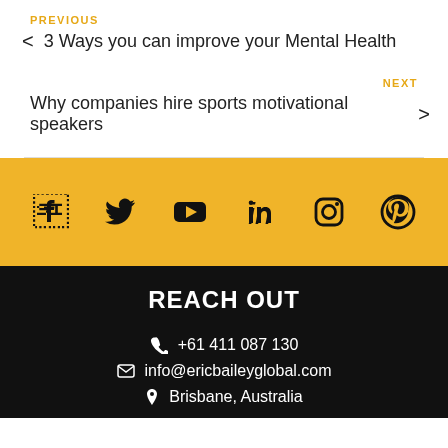PREVIOUS
< 3 Ways you can improve your Mental Health
NEXT
Why companies hire sports motivational speakers >
[Figure (infographic): Yellow social media bar with icons: Facebook, Twitter, YouTube, LinkedIn, Instagram, Pinterest]
REACH OUT
+61 411 087 130
info@ericbaileyglobal.com
Brisbane, Australia